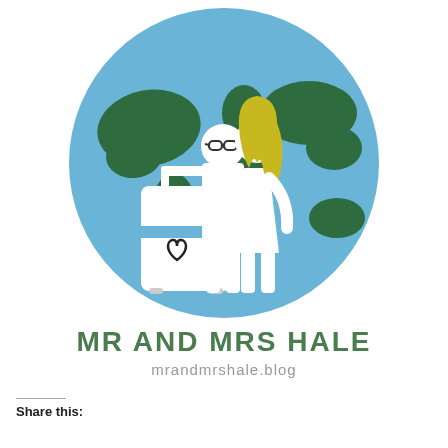[Figure (logo): Circular logo with light blue background showing a world map in dark green, two white stick figures (a man with glasses and a woman with yellow hair) standing together with a white suitcase bearing a heart symbol in the foreground.]
MR AND MRS HALE
mrandmrshale.blog
Share this: